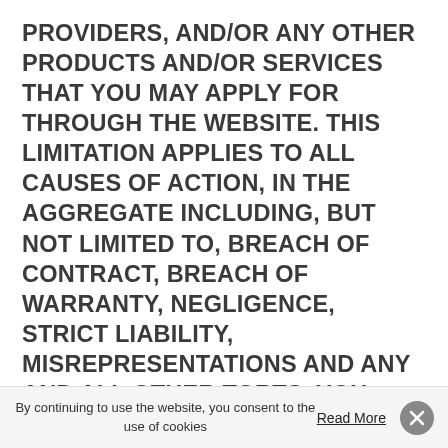PROVIDERS, AND/OR ANY OTHER PRODUCTS AND/OR SERVICES THAT YOU MAY APPLY FOR THROUGH THE WEBSITE. THIS LIMITATION APPLIES TO ALL CAUSES OF ACTION, IN THE AGGREGATE INCLUDING, BUT NOT LIMITED TO, BREACH OF CONTRACT, BREACH OF WARRANTY, NEGLIGENCE, STRICT LIABILITY, MISREPRESENTATIONS AND ANY AND ALL OTHER TORTS. YOU HEREBY RELEASE US AND ALL OF OUR THIRD PARTY PROVIDERS FROM ANY AND ALL OBLIGATIONS, LIABILITIES AND CLAIMS IN EXCESS OF THE LIMITATION STATED HEREIN. IF APPLICABLE LAW DOES NOT PERMIT SUCH LIMITATION, OUR MAXIMUM LIABILITY TO YOU UNDER ANY AND ALL CIRCUMSTANCES WILL BE FIVE HUNDRED DOLLARS ($500.00). THE NEGATION OF DAMAGES SET FORTH ABOVE IS A FUNDAMENTAL ELEMENT OF THE BASIS OF THE
By continuing to use the website, you consent to the use of cookies
Read More